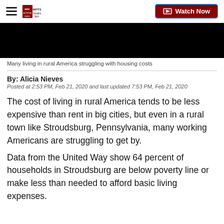WFTS TAMPA BAY | Watch Now
[Figure (screenshot): Black video thumbnail placeholder]
Many living in rural America struggling with housing costs
By: Alicia Nieves
Posted at 2:53 PM, Feb 21, 2020 and last updated 7:53 PM, Feb 21, 2020
The cost of living in rural America tends to be less expensive than rent in big cities, but even in a rural town like Stroudsburg, Pennsylvania, many working Americans are struggling to get by.
Data from the United Way show 64 percent of households in Stroudsburg are below poverty line or make less than needed to afford basic living expenses.